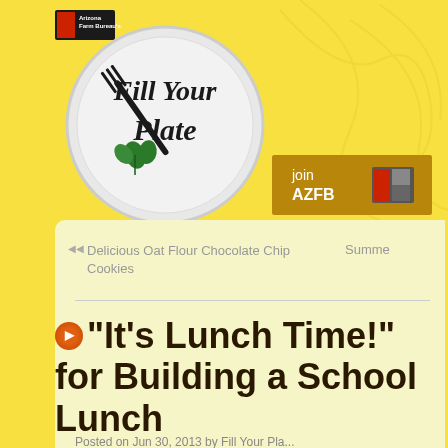[Figure (logo): Arizona Farm Bureau's Fill Your Plate logo — circular plate with fork and herbs, plus Arizona Farm Bureau logo mark top-left]
[Figure (other): Join AZFB button — gold/dark yellow rectangle with white text 'join AZFB' and Farm Bureau logo mark]
Delicious Oat Flour Chocolate Chip Cookies
Summe
“It’s Lunch Time!” for Building a School Lunch
Posted on Jun 30, 2013 by Fill Your Pla...